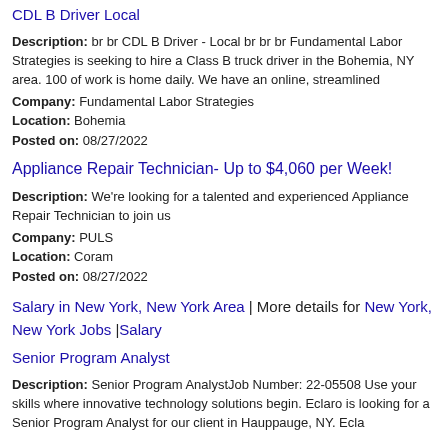CDL B Driver Local
Description: br br CDL B Driver - Local br br br Fundamental Labor Strategies is seeking to hire a Class B truck driver in the Bohemia, NY area. 100 of work is home daily. We have an online, streamlined
Company: Fundamental Labor Strategies
Location: Bohemia
Posted on: 08/27/2022
Appliance Repair Technician- Up to $4,060 per Week!
Description: We're looking for a talented and experienced Appliance Repair Technician to join us
Company: PULS
Location: Coram
Posted on: 08/27/2022
Salary in New York, New York Area | More details for New York, New York Jobs |Salary
Senior Program Analyst
Description: Senior Program AnalystJob Number: 22-05508 Use your skills where innovative technology solutions begin. Eclaro is looking for a Senior Program Analyst for our client in Hauppauge, NY. Ecla